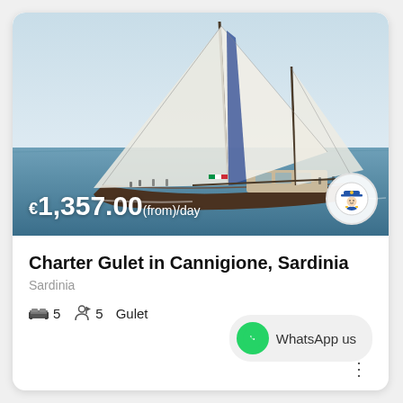[Figure (photo): A gulet sailing boat with large white sails on calm blue Mediterranean sea, aerial/side view]
€1,357.00(from)/day
Charter Gulet in Cannigione, Sardinia
Sardinia
5  5  Gulet
WhatsApp us